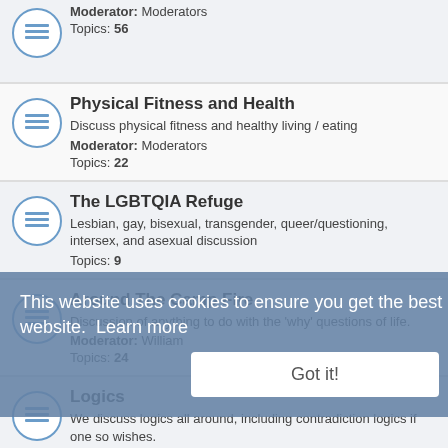Moderator: Moderators
Topics: 56
Physical Fitness and Health
Discuss physical fitness and healthy living / eating
Moderator: Moderators
Topics: 22
The LGBTQIA Refuge
Lesbian, gay, bisexual, transgender, queer/questioning, intersex, and asexual discussion
Topics: 9
Around The Camp Fire
Discussion of anything to do with the 'why' questions of life.
Moderator: William
Topics: 24
Logics
We discuss logics all around, including contradiction logics if one so wishes.
Moderator: Aetixintro
Topics: 3
Book Club
This website uses cookies to ensure you get the best experience on our website. Learn more
Got it!